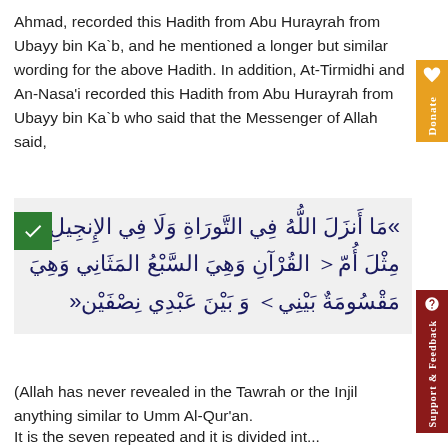Ahmad, recorded this Hadith from Abu Hurayrah from Ubayy bin Ka`b, and he mentioned a longer but similar wording for the above Hadith. In addition, At-Tirmidhi and An-Nasa'i recorded this Hadith from Abu Hurayrah from Ubayy bin Ka`b who said that the Messenger of Allah said,
[Figure (other): Arabic Quranic text quotation in a grey background box with a green icon on the left]
(Allah has never revealed in the Tawrah or the Injil anything similar to Umm Al-Qur'an.
It is the seven repeated and it is divided into...